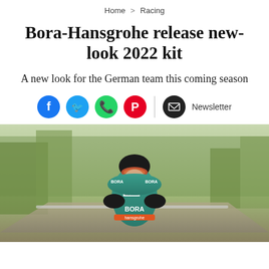Home > Racing
Bora-Hansgrohe release new-look 2022 kit
A new look for the German team this coming season
[Figure (infographic): Social sharing icons: Facebook, Twitter, WhatsApp, Pinterest, and Newsletter button]
[Figure (photo): Cyclist wearing teal and black Bora-Hansgrohe 2022 kit with orange accent, riding on a mountain road with trees in background. Kit shows BORA, Le Col, and Specialized logos.]